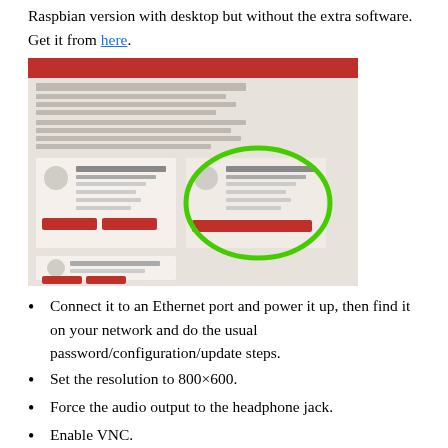Raspbian version with desktop but without the extra software. Get it from here.
[Figure (screenshot): Screenshot of the Raspbian download page with a green circle highlighting the 'Raspbian Stretch with desktop' option (middle option), showing download buttons below it.]
Connect it to an Ethernet port and power it up, then find it on your network and do the usual password/configuration/update steps.
Set the resolution to 800×600.
Force the audio output to the headphone jack.
Enable VNC.
Install GQRX from the respository (sudo apt install gqrx-sdr).